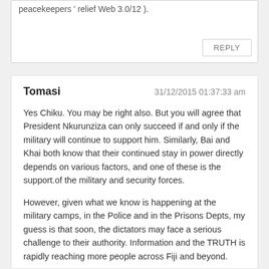peacekeepers ' relief Web 3.0/12 ).
REPLY
Tomasi
31/12/2015 01:37:33 am
Yes Chiku. You may be right also. But you will agree that President Nkurunziza can only succeed if and only if the military will continue to support him. Similarly, Bai and Khai both know that their continued stay in power directly depends on various factors, and one of these is the support.of the military and security forces.
However, given what we know is happening at the military camps, in the Police and in the Prisons Depts, my guess is that soon, the dictators may face a serious challenge to their authority. Information and the TRUTH is rapidly reaching more people across Fiji and beyond.
Also consider the precedent being set by the protests from Ra and Nadroga which have been quickly labelled as sedition by the two FFP guard dogs. The cases are still pending and probably shall be resolved in 2016. The outcome of those cases will also affect people's moods and perceptions about